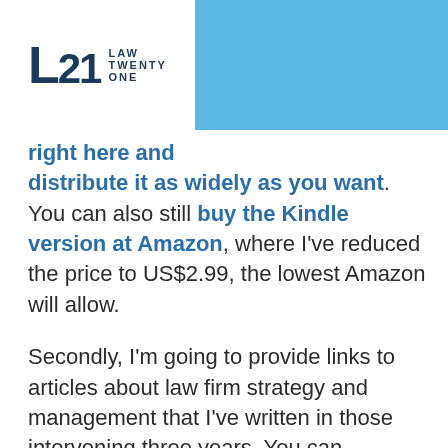[Figure (logo): Law Twenty One logo: 'L21' in dark navy with 'LAW TWENTY ONE' text, on white background with blue banner]
right here and distribute it as widely as you want. You can also still buy the Kindle version at Amazon, where I've reduced the price to US$2.99, the lowest Amazon will allow.
Secondly, I'm going to provide links to articles about law firm strategy and management that I've written in those intervening three years. You can consider these links to collectively constitute a de facto second edition of the book, or additional chapters that I would have